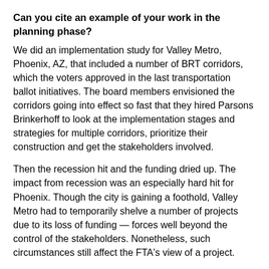Can you cite an example of your work in the planning phase?
We did an implementation study for Valley Metro, Phoenix, AZ, that included a number of BRT corridors, which the voters approved in the last transportation ballot initiatives. The board members envisioned the corridors going into effect so fast that they hired Parsons Brinkerhoff to look at the implementation stages and strategies for multiple corridors, prioritize their construction and get the stakeholders involved.
Then the recession hit and the funding dried up. The impact from recession was an especially hard hit for Phoenix. Though the city is gaining a foothold, Valley Metro had to temporarily shelve a number of projects due to its loss of funding — forces well beyond the control of the stakeholders. Nonetheless, such circumstances still affect the FTA's view of a project.
Does every city get it right? What constitutes best practices